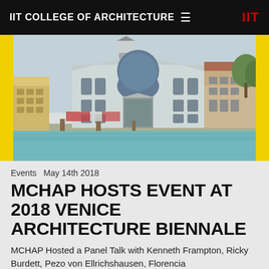IIT COLLEGE OF ARCHITECTURE ≡  IIT
[Figure (photo): Photograph of a Venetian building facade with classical architecture, viewed from the water. A large white church-like building with arched windows and a triangular pediment is centered, flanked by other historic buildings. Yellow vertical bars frame the left and right edges of the image.]
Events  May 14th 2018
MCHAP HOSTS EVENT AT 2018 VENICE ARCHITECTURE BIENNALE
MCHAP Hosted a Panel Talk with Kenneth Frampton, Ricky Burdett, Pezo von Ellrichshausen, Florencia